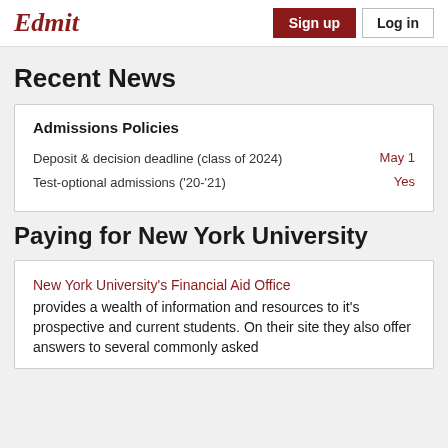Edmit | Sign up | Log in
Recent News
| Policy | Value |
| --- | --- |
| Deposit & decision deadline (class of 2024) | May 1 |
| Test-optional admissions ('20-'21) | Yes |
Paying for New York University
New York University's Financial Aid Office provides a wealth of information and resources to it's prospective and current students. On their site they also offer answers to several commonly asked